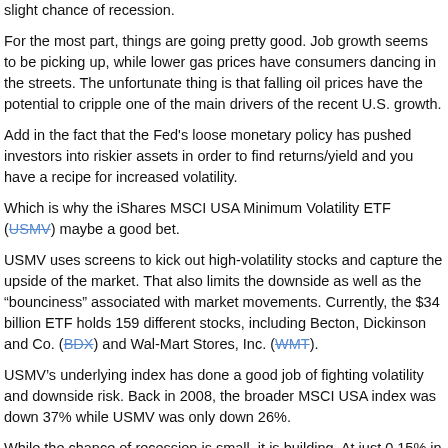slight chance of recession.
For the most part, things are going pretty good. Job growth seems to be picking up, while lower gas prices have consumers dancing in the streets. The unfortunate thing is that falling oil prices have the potential to cripple one of the main drivers of the recent U.S. growth.
Add in the fact that the Fed's loose monetary policy has pushed investors into riskier assets in order to find returns/yield and you have a recipe for increased volatility.
Which is why the iShares MSCI USA Minimum Volatility ETF (USMV) maybe a good bet.
USMV uses screens to kick out high-volatility stocks and capture the upside of the market. That also limits the downside as well as the "bounciness" associated with market movements. Currently, the $34 billion ETF holds 159 different stocks, including Becton, Dickinson and Co. (BDX) and Wal-Mart Stores, Inc. (WMT).
USMV's underlying index has done a good job of fighting volatility and downside risk. Back in 2008, the broader MSCI USA index was down 37% while USMV was only down 26%.
While the chance of recession is small, it is building. At just 0.15% in ... USMV is only ...